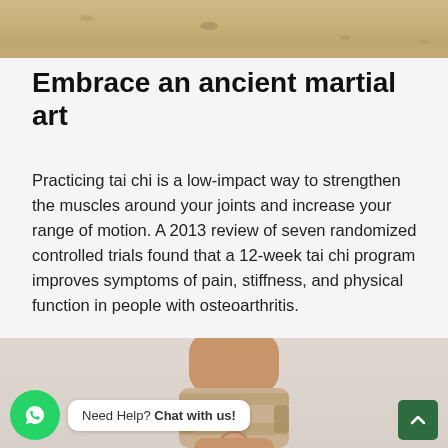[Figure (photo): Sandy ground/beach scene, top portion of image visible]
Embrace an ancient martial art
Practicing tai chi is a low-impact way to strengthen the muscles around your joints and increase your range of motion. A 2013 review of seven randomized controlled trials found that a 12-week tai chi program improves symptoms of pain, stiffness, and physical function in people with osteoarthritis.
[Figure (photo): Close-up photo of a knee with a beige/tan orthopedic knee brace support]
Need Help? Chat with us!